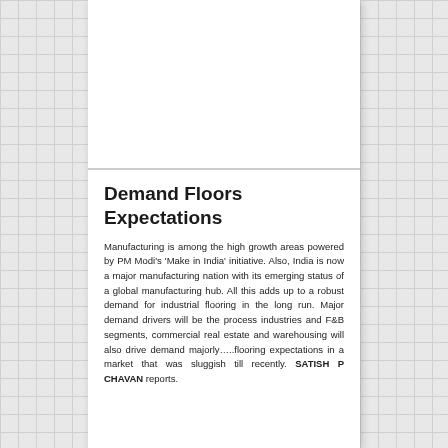[Figure (other): White blank image placeholder at the top of the article]
Demand Floors Expectations
Manufacturing is among the high growth areas powered by PM Modi's ‘Make in India’ initiative. Also, India is now a major manufacturing nation with its emerging status of a global manufacturing hub. All this adds up to a robust demand for industrial flooring in the long run. Major demand drivers will be the process industries and F&B segments, commercial real estate and warehousing will also drive demand majorly…..flooring expectations in a market that was sluggish till recently. SATISH P CHAVAN reports.